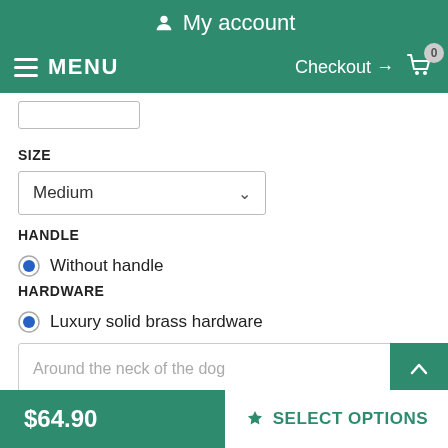My account
MENU  Checkout → 0
SIZE
Medium
HANDLE
Without handle
HARDWARE
Luxury solid brass hardware
Around the neck of the dog
$64.90
SELECT OPTIONS